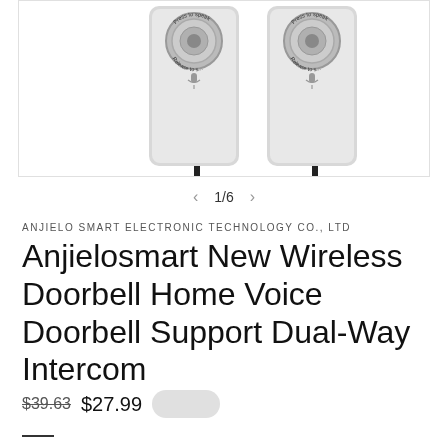[Figure (photo): Product photo of two wireless doorbell intercom units, silver/gray colored with circular speaker grilles, on white background]
1/6
ANJIELO SMART ELECTRONIC TECHNOLOGY CO., LTD
Anjielosmart New Wireless Doorbell Home Voice Doorbell Support Dual-Way Intercom
$39.63  $27.99